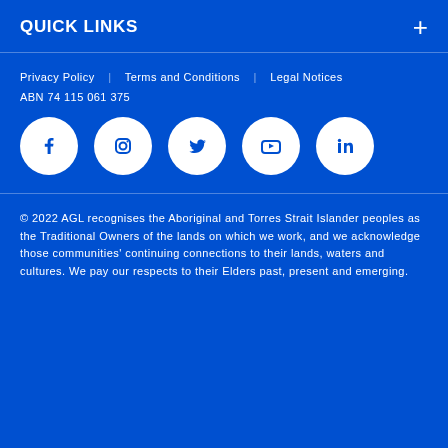QUICK LINKS
Privacy Policy     Terms and Conditions     Legal Notices
ABN 74 115 061 375
[Figure (other): Social media icons: Facebook, Instagram, Twitter, YouTube, LinkedIn]
© 2022 AGL recognises the Aboriginal and Torres Strait Islander peoples as the Traditional Owners of the lands on which we work, and we acknowledge those communities' continuing connections to their lands, waters and cultures. We pay our respects to their Elders past, present and emerging.